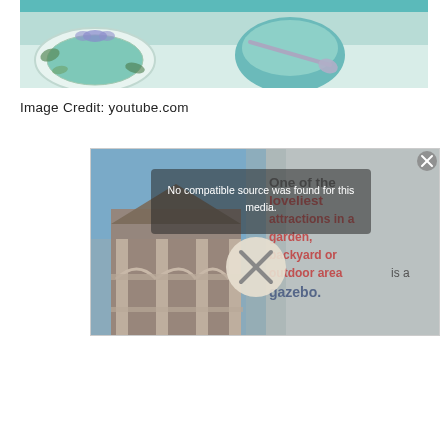[Figure (photo): Top portion of a photo showing a decorative plate with floral design and a teal bowl with a spoon on a white surface.]
Image Credit: youtube.com
[Figure (screenshot): A video player screenshot showing 'No compatible source was found for this media.' error message with a large X button, overlaid on an image of a gazebo. Text overlay reads: 'One of the loveliest attractions in a garden, backyard or outdoor area is a gazebo.' A close button (x) appears in the top right corner.]